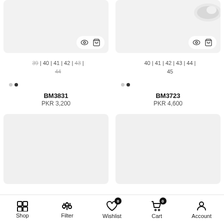[Figure (screenshot): Left product image box with eye and cart action buttons, light grey background]
[Figure (screenshot): Right product image box showing white shoe at top right, with eye and cart action buttons]
39 | 40 | 41 | 42 | 43 | 44
40 | 41 | 42 | 43 | 44 | 45
BM3831
PKR 3,200
BM3723
PKR 4,600
[Figure (screenshot): Lower left product image box, light grey background]
[Figure (screenshot): Lower right product image box, light grey background]
Shop  Filter  Wishlist 0  Cart 0  Account